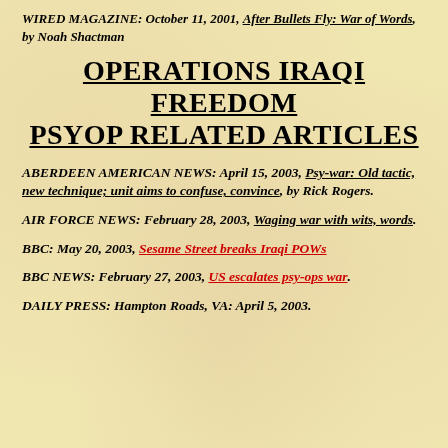WIRED MAGAZINE: October 11, 2001, After Bullets Fly: War of Words, by Noah Shactman
OPERATIONS IRAQI FREEDOM PSYOP RELATED ARTICLES
ABERDEEN AMERICAN NEWS: April 15, 2003, Psy-war: Old tactic, new technique; unit aims to confuse, convince, by Rick Rogers.
AIR FORCE NEWS: February 28, 2003, Waging war with wits, words.
BBC: May 20, 2003, Sesame Street breaks Iraqi POWs
BBC NEWS: February 27, 2003, US escalates psy-ops war.
DAILY PRESS: Hampton Roads, VA: April 5, 2003.